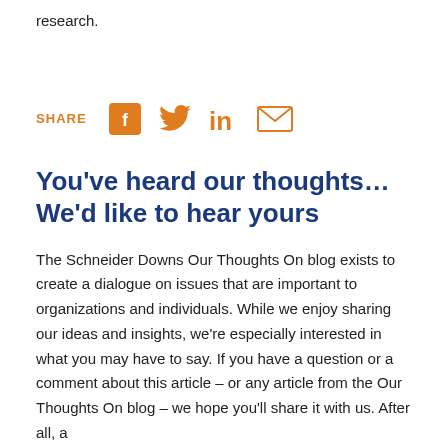research.
[Figure (infographic): Share bar with icons: SHARE label followed by Facebook, Twitter, LinkedIn, and Email icons in orange]
You've heard our thoughts... We'd like to hear yours
The Schneider Downs Our Thoughts On blog exists to create a dialogue on issues that are important to organizations and individuals. While we enjoy sharing our ideas and insights, we're especially interested in what you may have to say. If you have a question or a comment about this article – or any article from the Our Thoughts On blog – we hope you'll share it with us. After all, a